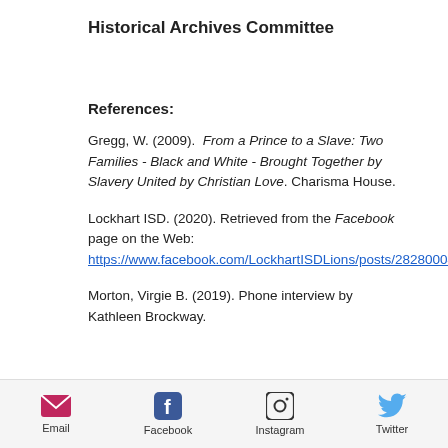Historical Archives Committee
References:
Gregg, W. (2009). From a Prince to a Slave: Two Families - Black and White - Brought Together by Slavery United by Christian Love. Charisma House.
Lockhart ISD. (2020). Retrieved from the Facebook page on the Web: https://www.facebook.com/LockhartISDLions/posts/2828000420644619.
Morton, Virgie B. (2019). Phone interview by Kathleen Brockway.
Email | Facebook | Instagram | Twitter